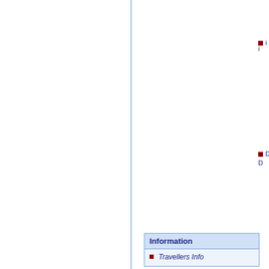[Figure (other): Two-column page layout with a vertical blue divider line. Right side shows partial sidebar list items with dark red bullets and dark blue text labels. Bottom right shows an 'Information' box with a blue border and header, containing a list item 'Travellers Info'.]
Travellers Info